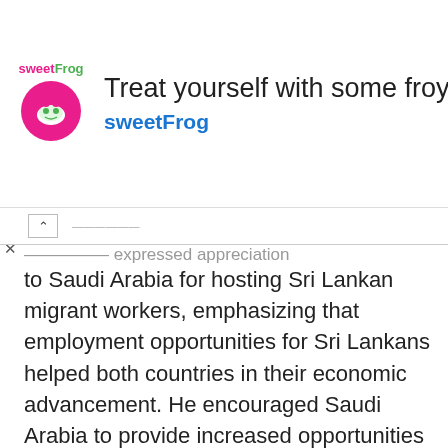[Figure (other): SweetFrog advertisement banner with logo, tagline 'Treat yourself with some froyo', brand name 'sweetFrog', and a blue diamond navigation icon]
...Minister expressed appreciation to Saudi Arabia for hosting Sri Lankan migrant workers, emphasizing that employment opportunities for Sri Lankans helped both countries in their economic advancement. He encouraged Saudi Arabia to provide increased opportunities for Sri Lankans in skilled and professional categories.